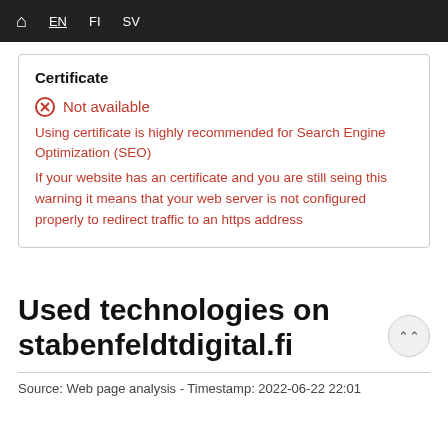Home  EN  FI  SV
Certificate
Not available
Using certificate is highly recommended for Search Engine Optimization (SEO)
If your website has an certificate and you are still seing this warning it means that your web server is not configured properly to redirect traffic to an https address
Used technologies on stabenfeldtdigital.fi
Source: Web page analysis - Timestamp: 2022-06-22 22:01